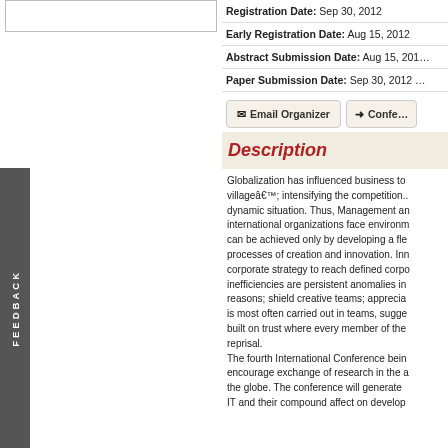Registration Date: Sep 30, 2012
Early Registration Date: Aug 15, 2012
Abstract Submission Date: Aug 15, 2012
Paper Submission Date: Sep 30, 2012
Email Organizer | Confe...
Description
Globalization has influenced business to villageâ€™; intensifying the competition. dynamic situation. Thus, Management and international organizations face environm can be achieved only by developing a fle processes of creation and innovation. Inno corporate strategy to reach defined corpo inefficiencies are persistent anomalies in reasons; shield creative teams; apprecia is most often carried out in teams, sugge built on trust where every member of the reprisal. The fourth International Conference bein encourage exchange of research in the a the globe. The conference will generate IT and their compound affect on develop